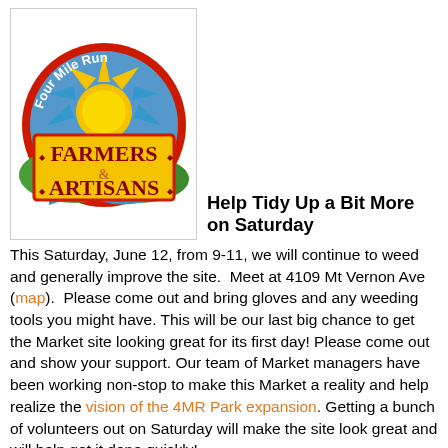[Figure (logo): Four Mile Run Farmers & Artisans Market circular logo with sun, green hills, blue water, red circular border text and yellow rectangular banner]
Help Tidy Up a Bit More on Saturday
This Saturday, June 12, from 9-11, we will continue to weed and generally improve the site.  Meet at 4109 Mt Vernon Ave (map).  Please come out and bring gloves and any weeding tools you might have. This will be our last big chance to get the Market site looking great for its first day! Please come out and show your support. Our team of Market managers have been working non-stop to make this Market a reality and help realize the vision of the 4MR Park expansion. Getting a bunch of volunteers out on Saturday will make the site look great and will help get it done quickly!